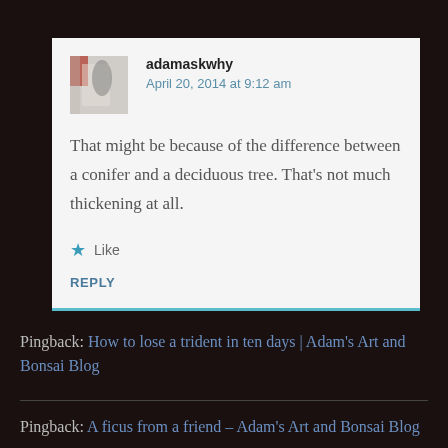adamaskwhy
April 20, 2014 at 9:12 am
That might be because of the difference between a conifer and a deciduous tree. That’s not much thickening at all.
Like
REPLY
Pingback: How to lose a trident in ten days | Adam’s Art and Bonsai Blog
Pingback: A ficus from a friend – Adam's Art and Bonsai Blog